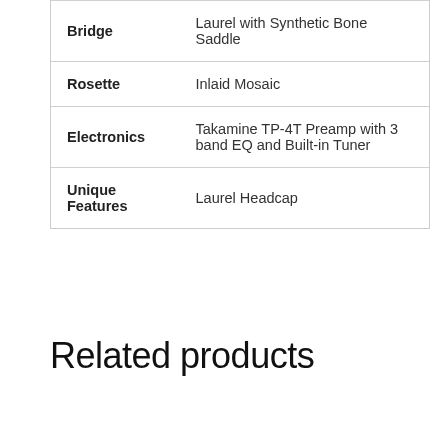| Feature | Description |
| --- | --- |
| Bridge | Laurel with Synthetic Bone Saddle |
| Rosette | Inlaid Mosaic |
| Electronics | Takamine TP-4T Preamp with 3 band EQ and Built-in Tuner |
| Unique Features | Laurel Headcap |
Related products